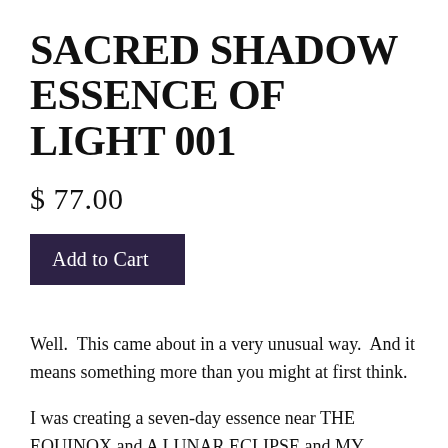SACRED SHADOW ESSENCE OF LIGHT 001
$ 77.00
Add to Cart
Well.  This came about in a very unusual way.  And it means something more than you might at first think.
I was creating a seven-day essence near THE EQUINOX and A LUNAR ECLIPSE and MY BIRTHDAY - potent times, these.  And that essence